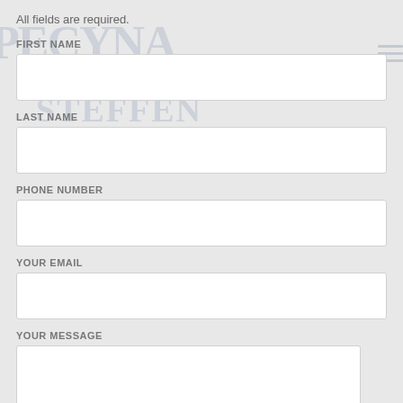All fields are required.
FIRST NAME
LAST NAME
PHONE NUMBER
YOUR EMAIL
YOUR MESSAGE